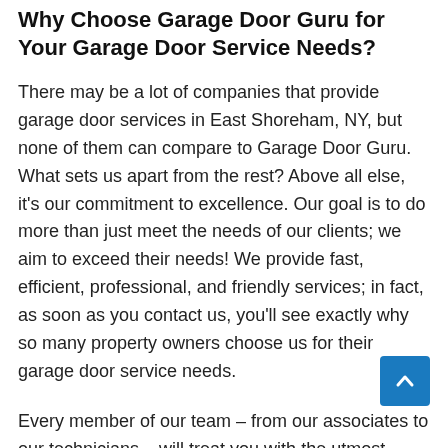Why Choose Garage Door Guru for Your Garage Door Service Needs?
There may be a lot of companies that provide garage door services in East Shoreham, NY, but none of them can compare to Garage Door Guru. What sets us apart from the rest? Above all else, it's our commitment to excellence. Our goal is to do more than just meet the needs of our clients; we aim to exceed their needs! We provide fast, efficient, professional, and friendly services; in fact, as soon as you contact us, you'll see exactly why so many property owners choose us for their garage door service needs.
Every member of our team – from our associates to our technicians – will treat you with the utmost respect; we always provide service with a smile. Whatever type of service you require, we'll make sure that you're completely involved in the process (after all, it's your property and you should always be